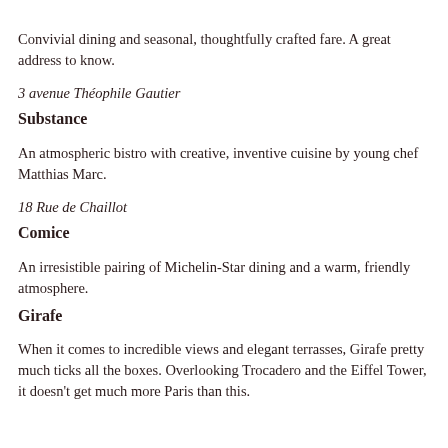Convivial dining and seasonal, thoughtfully crafted fare. A great address to know.
3 avenue Théophile Gautier
Substance
An atmospheric bistro with creative, inventive cuisine by young chef Matthias Marc.
18 Rue de Chaillot
Comice
An irresistible pairing of Michelin-Star dining and a warm, friendly atmosphere.
Girafe
When it comes to incredible views and elegant terrasses, Girafe pretty much ticks all the boxes. Overlooking Trocadero and the Eiffel Tower, it doesn't get much more Paris than this.